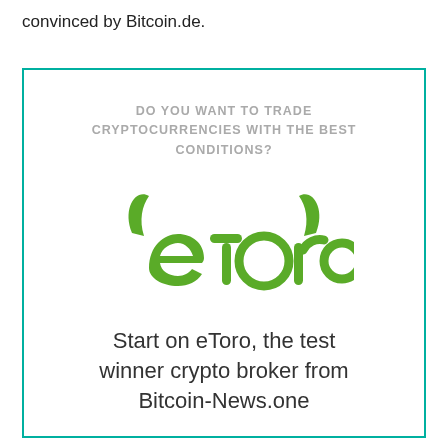convinced by Bitcoin.de.
[Figure (illustration): eToro advertisement box with teal border containing the text 'DO YOU WANT TO TRADE CRYPTOCURRENCIES WITH THE BEST CONDITIONS?', the eToro logo in green with bull horns, and the tagline 'Start on eToro, the test winner crypto broker from Bitcoin-News.one']